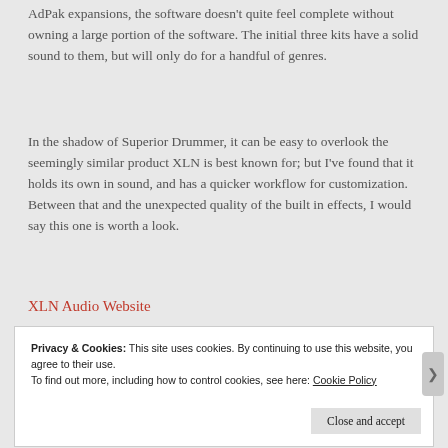AdPak expansions, the software doesn't quite feel complete without owning a large portion of the software. The initial three kits have a solid sound to them, but will only do for a handful of genres.
In the shadow of Superior Drummer, it can be easy to overlook the seemingly similar product XLN is best known for; but I've found that it holds its own in sound, and has a quicker workflow for customization. Between that and the unexpected quality of the built in effects, I would say this one is worth a look.
XLN Audio Website
Privacy & Cookies: This site uses cookies. By continuing to use this website, you agree to their use.
To find out more, including how to control cookies, see here: Cookie Policy

Close and accept